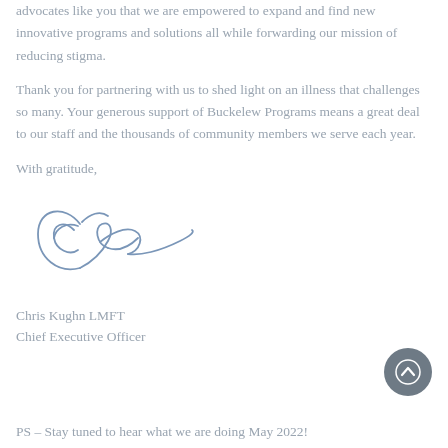advocates like you that we are empowered to expand and find new innovative programs and solutions all while forwarding our mission of reducing stigma.
Thank you for partnering with us to shed light on an illness that challenges so many. Your generous support of Buckelew Programs means a great deal to our staff and the thousands of community members we serve each year.
With gratitude,
[Figure (illustration): Handwritten signature of Chris Kughn LMFT in blue ink]
Chris Kughn LMFT
Chief Executive Officer
PS – Stay tuned to hear what we are doing May 2022!